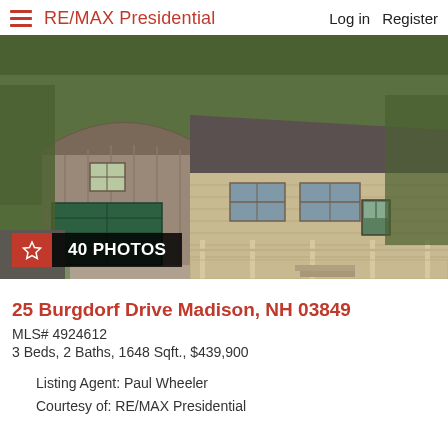RE/MAX Presidential  Log in  Register
[Figure (photo): Exterior photo of a residential property at 25 Burgdorf Drive Madison, NH. Shows a ranch-style house with a wrap-around porch, a large barn-style detached garage with green door, gravel driveway, and green lawn surrounded by trees.]
40 PHOTOS
25 Burgdorf Drive Madison, NH 03849
MLS# 4924612
3 Beds, 2 Baths, 1648 Sqft., $439,900
Listing Agent: Paul Wheeler
Courtesy of: RE/MAX Presidential